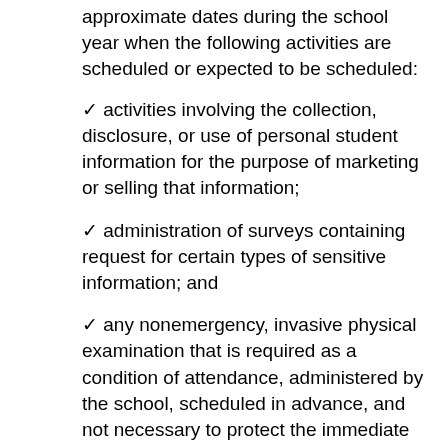approximate dates during the school year when the following activities are scheduled or expected to be scheduled:
✓ activities involving the collection, disclosure, or use of personal student information for the purpose of marketing or selling that information;
✓ administration of surveys containing request for certain types of sensitive information; and
✓ any nonemergency, invasive physical examination that is required as a condition of attendance, administered by the school, scheduled in advance, and not necessary to protect the immediate health and safety of student.
A district must develop and adopt policies regarding the rights of parents to inspect: